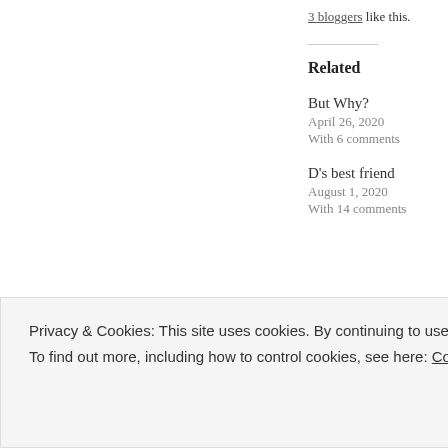3 bloggers like this.
Related
But Why?
April 26, 2020
With 6 comments
D's best friend
August 1, 2020
With 14 comments
Privacy & Cookies: This site uses cookies. By continuing to use this website, you agree to their use.
To find out more, including how to control cookies, see here: Cookie Policy
Close and accept